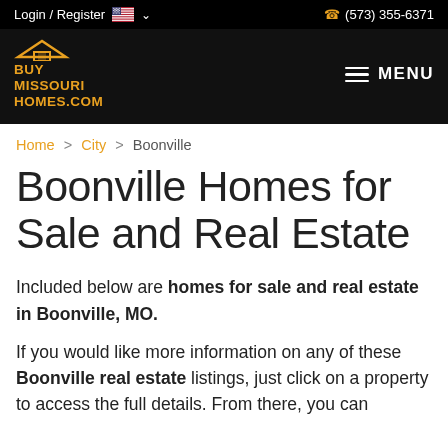Login / Register  (573) 355-6371
[Figure (logo): BuyMissouriHomes.com logo with house roof icon in gold/orange on black background, and MENU hamburger icon]
Home > City > Boonville
Boonville Homes for Sale and Real Estate
Included below are homes for sale and real estate in Boonville, MO.
If you would like more information on any of these Boonville real estate listings, just click on a property to access the full details. From there, you can